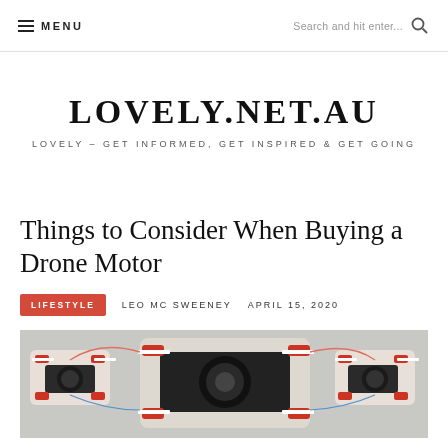≡ MENU  |  Search and hit enter... 🔍
LOVELY.NET.AU
LOVELY – GET INFORMED, GET INSPIRED & GET GOING
Things to Consider When Buying a Drone Motor
LIFESTYLE   LEO MC SWEENEY   APRIL 15, 2020
[Figure (photo): Multiple drone motors/quadcopters arranged together, viewed from front angle, with red and white components visible]